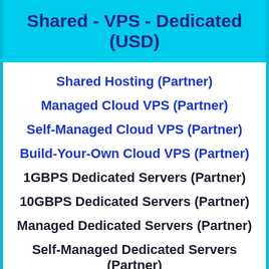Shared - VPS - Dedicated (USD)
Shared Hosting (Partner)
Managed Cloud VPS (Partner)
Self-Managed Cloud VPS (Partner)
Build-Your-Own Cloud VPS (Partner)
1GBPS Dedicated Servers (Partner)
10GBPS Dedicated Servers (Partner)
Managed Dedicated Servers (Partner)
Self-Managed Dedicated Servers (Partner)
Managed Colocation (Partner)